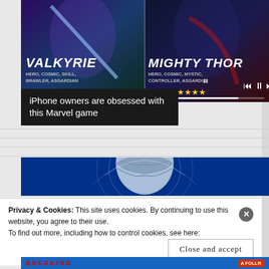[Figure (screenshot): Marvel game advertisement showing two characters: Valkyrie (HERO, COSMIC, SKILL, BRAWLER, ASGARDIAN) and Mighty Thor (HERO, COSMIC, MYSTIC, CONTROLLER, ASGARDIAN) with star ratings below]
iPhone owners are obsessed with this Marvel game
[Figure (screenshot): Second advertisement banner with dark blue background showing a globe/earth illustration]
Privacy & Cookies: This site uses cookies. By continuing to use this website, you agree to their use. To find out more, including how to control cookies, see here: Cookie Policy
Close and accept